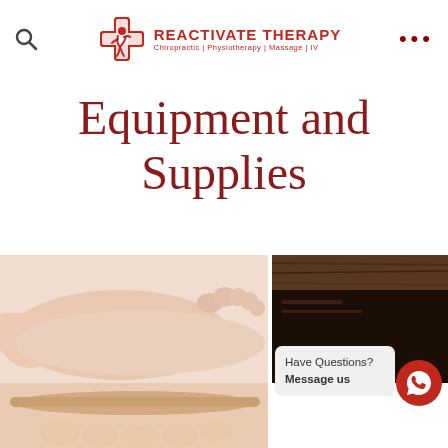REACTIVATE THERAPY Chiropractic | Physiotherapy | Massage | IV
Equipment and Supplies
[Figure (photo): Close-up photo of a baby foot/toes against white background]
[Figure (photo): Hands holding a beige orthopaedic insole]
[Figure (photo): Dark wooden surface or equipment, partially visible]
[Figure (photo): Bottom strip showing additional product photos]
Have Questions?
Message us